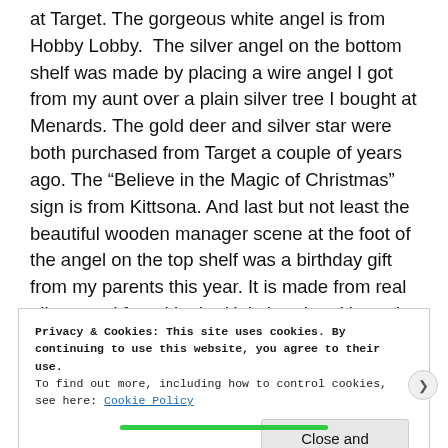at Target. The gorgeous white angel is from Hobby Lobby. The silver angel on the bottom shelf was made by placing a wire angel I got from my aunt over a plain silver tree I bought at Menards. The gold deer and silver star were both purchased from Target a couple of years ago. The “Believe in the Magic of Christmas” sign is from Kittsona. And last but not least the beautiful wooden manager scene at the foot of the angel on the top shelf was a birthday gift from my parents this year. It is made from real olive wood found in the Holy Land and is such a great addition to my decor.
Privacy & Cookies: This site uses cookies. By continuing to use this website, you agree to their use.
To find out more, including how to control cookies, see here: Cookie Policy
Close and accept